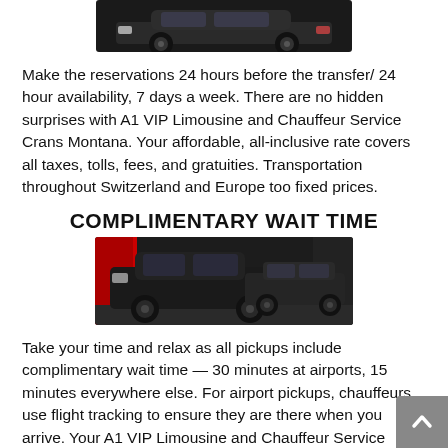[Figure (photo): Black luxury sedan car photographed from front-side angle on dark background]
Make the reservations 24 hours before the transfer/ 24 hour availability, 7 days a week. There are no hidden surprises with A1 VIP Limousine and Chauffeur Service Crans Montana. Your affordable, all-inclusive rate covers all taxes, tolls, fees, and gratuities. Transportation throughout Switzerland and Europe too fixed prices.
COMPLIMENTARY WAIT TIME
[Figure (photo): Two black luxury sedan cars parked in front of a building with red architectural elements]
Take your time and relax as all pickups include complimentary wait time — 30 minutes at airports, 15 minutes everywhere else. For airport pickups, chauffeurs use flight tracking to ensure they are there when you arrive. Your A1 VIP Limousine and Chauffeur Service Crans